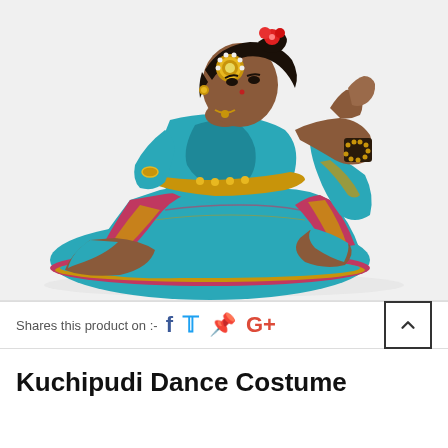[Figure (photo): A classical Kuchipudi dancer in a teal and pink saree with gold trim, kneeling in a prayer/namaste pose against a white background. The dancer wears traditional jewelry including a large ornamental piece in the hair, gold bangles, and dark beaded bracelets.]
Shares this product on :- f  Twitter  Pinterest  G+
Kuchipudi Dance Costume